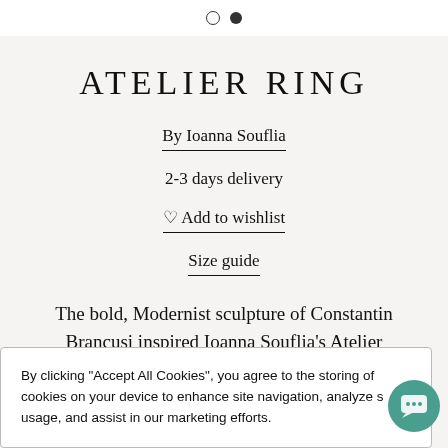○ ●
ATELIER RING
By Ioanna Souflia
2-3 days delivery
♡ Add to wishlist
Size guide
The bold, Modernist sculpture of Constantin Brancusi inspired Ioanna Souflia's Atelier
By clicking "Accept All Cookies", you agree to the storing of cookies on your device to enhance site navigation, analyze site usage, and assist in our marketing efforts.